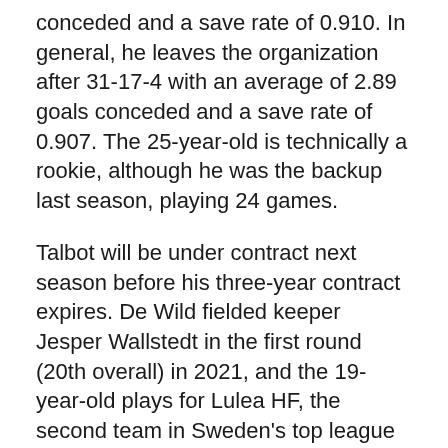conceded and a save rate of 0.910. In general, he leaves the organization after 31-17-4 with an average of 2.89 goals conceded and a save rate of 0.907. The 25-year-old is technically a rookie, although he was the backup last season, playing 24 games.
Talbot will be under contract next season before his three-year contract expires. De Wild fielded keeper Jesper Wallstedt in the first round (20th overall) in 2021, and the 19-year-old plays for Lulea HF, the second team in Sweden's top league with 14 teams this season.
Middleton, 26, has three goals and six assists in 45 appearances for the Sharks and averages 19:03 time on ice. He was the final